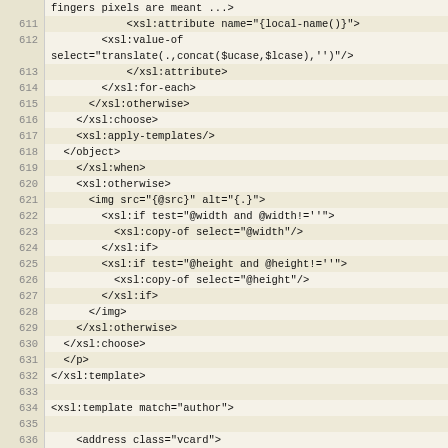Code listing lines 611-641, XSL template source code
611    <xsl:attribute name="{local-name()}">
612    <xsl:value-of select="translate(.,concat($ucase,$lcase),'')"/>
613    </xsl:attribute>
614    </xsl:for-each>
615    </xsl:otherwise>
616    </xsl:choose>
617    <xsl:apply-templates/>
618    </object>
619    </xsl:when>
620    <xsl:otherwise>
621    <img src="{@src}" alt="{.}">
622    <xsl:if test="@width and @width!=''">
623    <xsl:copy-of select="@width"/>
624    </xsl:if>
625    <xsl:if test="@height and @height!=''">
626    <xsl:copy-of select="@height"/>
627    </xsl:if>
628    </img>
629    </xsl:otherwise>
630    </xsl:choose>
631    </p>
632 </xsl:template>
633
634 <xsl:template match="author">
635
636    <address class="vcard">
637    <span class="vcardline">
638    <span class="fn">
639    <xsl:value-of select="@fullname" />
640    </span>
641    <xsl:if test="@role">